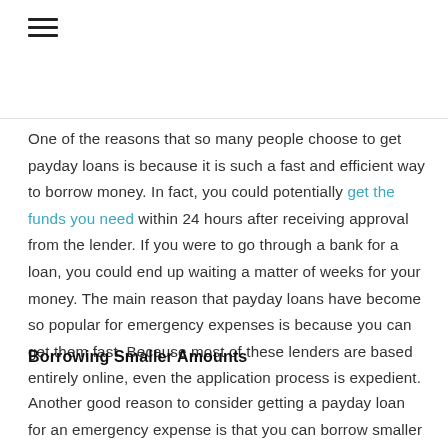≡
One of the reasons that so many people choose to get payday loans is because it is such a fast and efficient way to borrow money. In fact, you could potentially get the funds you need within 24 hours after receiving approval from the lender. If you were to go through a bank for a loan, you could end up waiting a matter of weeks for your money. The main reason that payday loans have become so popular for emergency expenses is because you can get them fast. Because most of these lenders are based entirely online, even the application process is expedient.
Borrowing Smaller Amounts
Another good reason to consider getting a payday loan for an emergency expense is that you can borrow smaller amounts. Banks do not typically give out loans for a few hundred pounds, whereas